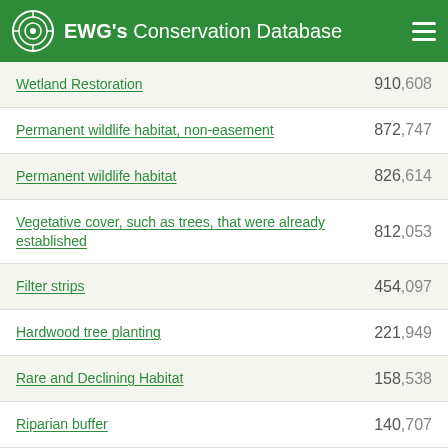EWG's Conservation Database
Wetland Restoration  910,608
Permanent wildlife habitat, non-easement  872,747
Permanent wildlife habitat  826,614
Vegetative cover, such as trees, that were already established  812,053
Filter strips  454,097
Hardwood tree planting  221,949
Rare and Declining Habitat  158,538
Riparian buffer  140,707